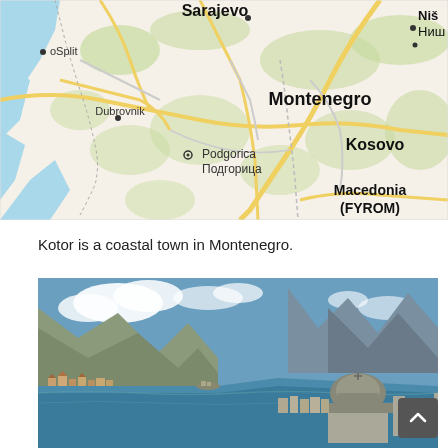[Figure (map): Map of Western Balkans region showing Montenegro, Kosovo, Bosnia with cities Sarajevo, Niš (Ниш), Split, Dubrovnik, Podgorica (Подгорица), and Macedonia (FYROM)]
Kotor is a coastal town in Montenegro.
[Figure (photo): Aerial panoramic photo of Kotor Bay, Montenegro, showing mountains, the bay, old town with a domed church in foreground, and mountains in background under blue sky with clouds]